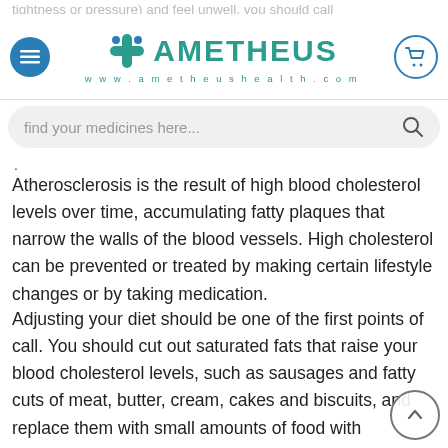tightness or pressure) and feel unwell, you should call … suggest call the NHS on 111 for advice.
[Figure (logo): Ametheus Health logo with cross icon and website www.ametheushealth.com]
find your medicines here...
Atherosclerosis is the result of high blood cholesterol levels over time, accumulating fatty plaques that narrow the walls of the blood vessels. High cholesterol can be prevented or treated by making certain lifestyle changes or by taking medication.
Adjusting your diet should be one of the first points of call. You should cut out saturated fats that raise your blood cholesterol levels, such as sausages and fatty cuts of meat, butter, cream, cakes and biscuits, and replace them with small amounts of food with unsaturated fats, such as oily fish, nuts, seeds, avocados, and vegetable oils and spreads. You can try poaching,